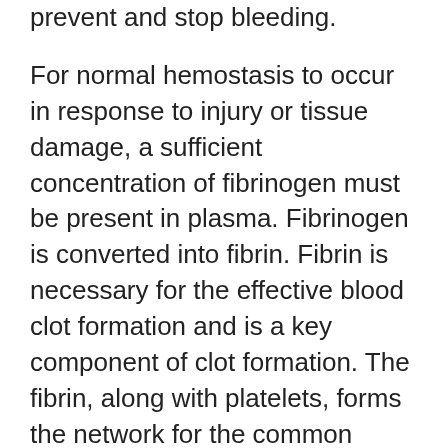prevent and stop bleeding.
For normal hemostasis to occur in response to injury or tissue damage, a sufficient concentration of fibrinogen must be present in plasma. Fibrinogen is converted into fibrin. Fibrin is necessary for the effective blood clot formation and is a key component of clot formation. The fibrin, along with platelets, forms the network for the common blood clot.
Fibrinogen is synthesized in the liver and it is naturally dissolved in plasma.
Fibrinogen is also known as clotting